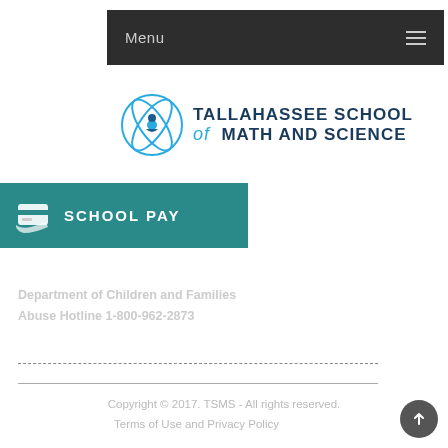Menu ☰
[Figure (logo): Tallahassee School of Math and Science logo with atom icon and school name text]
[Figure (logo): School Pay banner with credit card icon and SCHOOL PAY text on teal background]
Department of Children and Families Abuse Hotline 1-800-962-2873
Copyright © 2017. TSMS - All rights reserved. Terms of Use and Privacy Policy